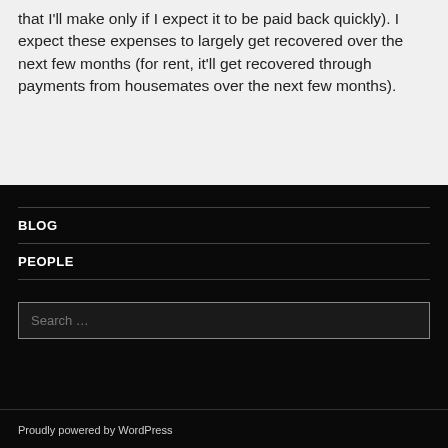that I'll make only if I expect it to be paid back quickly). I expect these expenses to largely get recovered over the next few months (for rent, it'll get recovered through payments from housemates over the next few months).
BLOG
PEOPLE
Search …
Proudly powered by WordPress